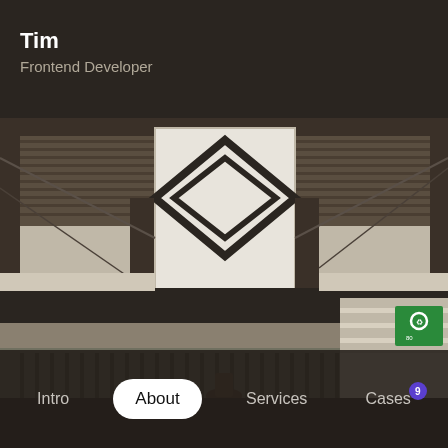Tim
Frontend Developer
[Figure (photo): Photograph of a stadium interior showing structural steel beams, a large diamond-shaped banner/logo hanging from the ceiling, seating areas, and a partial view of the exterior concourse with a recycling sign]
Intro  About  Services  Cases 9